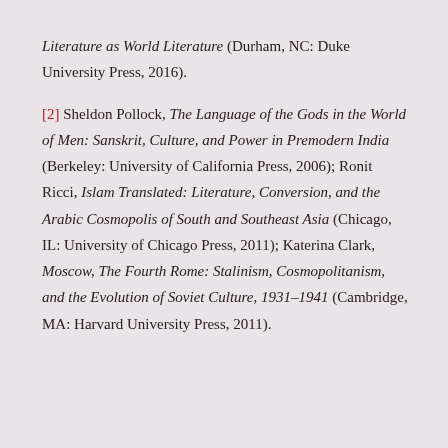Literature as World Literature (Durham, NC: Duke University Press, 2016).
[2] Sheldon Pollock, The Language of the Gods in the World of Men: Sanskrit, Culture, and Power in Premodern India (Berkeley: University of California Press, 2006); Ronit Ricci, Islam Translated: Literature, Conversion, and the Arabic Cosmopolis of South and Southeast Asia (Chicago, IL: University of Chicago Press, 2011); Katerina Clark, Moscow, The Fourth Rome: Stalinism, Cosmopolitanism, and the Evolution of Soviet Culture, 1931–1941 (Cambridge, MA: Harvard University Press, 2011).